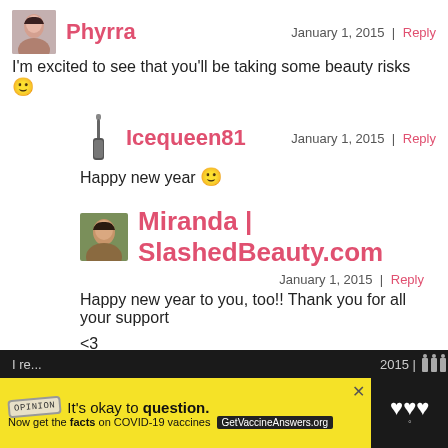Phyrra — January 1, 2015 | Reply
I'm excited to see that you'll be taking some beauty risks 🙂
Icequeen81 — January 1, 2015 | Reply
Happy new year 🙂
Miranda | SlashedBeauty.com — January 1, 2015 | Reply
Happy new year to you, too!! Thank you for all your support <3
Icequeen81 — January 1, 2015 | Reply
You welcome
[Figure (screenshot): Advertisement banner: yellow background with 'It's okay to question. Now get the facts on COVID-19 vaccines. GetVaccineAnswers.org' and a dark sidebar with icons]